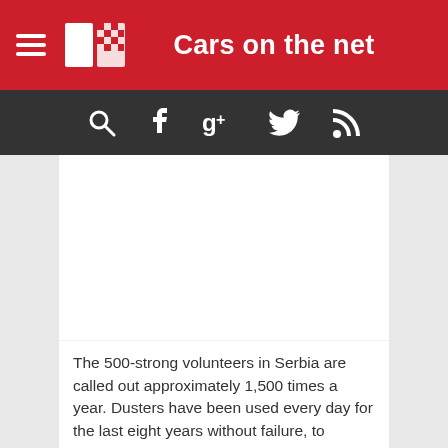Cars on the net
[Figure (screenshot): Navigation bar with search, Facebook, Google+, Twitter, and RSS icons on dark background]
[Figure (photo): Article image placeholder (white/blank area)]
The 500-strong volunteers in Serbia are called out approximately 1,500 times a year. Dusters have been used every day for the last eight years without failure, to